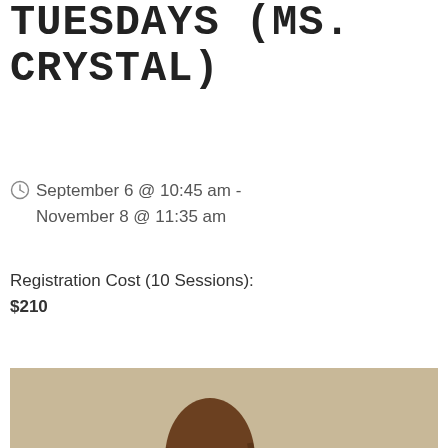TUESDAYS (MS. CRYSTAL)
September 6 @ 10:45 am - November 8 @ 11:35 am
Registration Cost (10 Sessions): $210
[Figure (photo): Overhead view of a teacher and two young children doing a craft activity at a white table. The children are wearing red clothing. Green paint and craft supplies are visible on the table.]